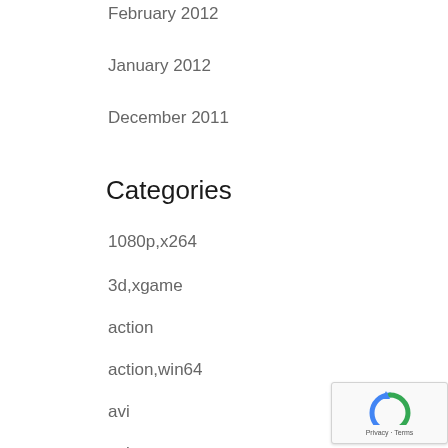February 2012
January 2012
December 2011
Categories
1080p,x264
3d,xgame
action
action,win64
avi
avi,top
avi,videos
axxo,win7
axxo,x86